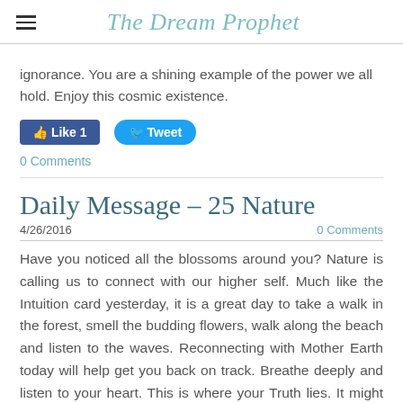The Dream Prophet
ignorance. You are a shining example of the power we all hold. Enjoy this cosmic existence.
[Figure (other): Social media buttons: Like 1 (Facebook) and Tweet (Twitter)]
0 Comments
Daily Message – 25 Nature
4/26/2016
0 Comments
Have you noticed all the blossoms around you? Nature is calling us to connect with our higher self. Much like the Intuition card yesterday, it is a great day to take a walk in the forest, smell the budding flowers, walk along the beach and listen to the waves. Reconnecting with Mother Earth today will help get you back on track. Breathe deeply and listen to your heart. This is where your Truth lies. It might not coincide with what others believe,